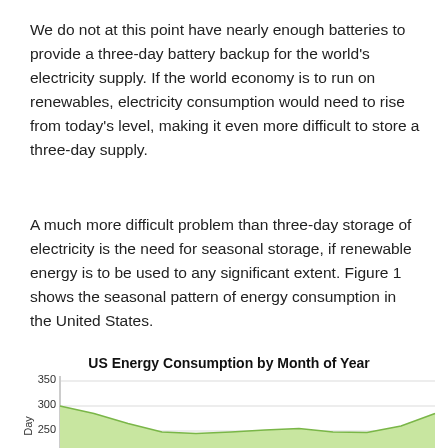We do not at this point have nearly enough batteries to provide a three-day battery backup for the world's electricity supply. If the world economy is to run on renewables, electricity consumption would need to rise from today's level, making it even more difficult to store a three-day supply.
A much more difficult problem than three-day storage of electricity is the need for seasonal storage, if renewable energy is to be used to any significant extent. Figure 1 shows the seasonal pattern of energy consumption in the United States.
[Figure (area-chart): US Energy Consumption by Month of Year]